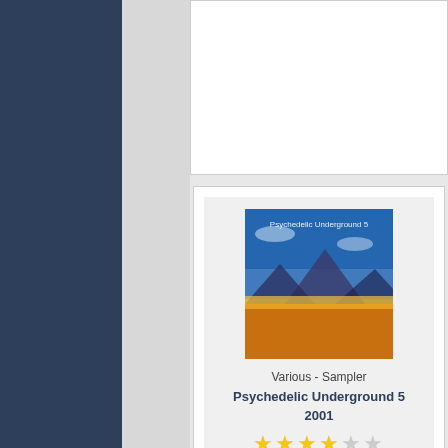[Figure (screenshot): Music catalog/website screenshot showing two album entries. Left side has a dark navy sidebar and light grey column. Right side shows two album cards.]
Various - Sampler
Psychedelic Underground 5
2001
★★★★☆☆ (4 out of 6 stars)
Various - Sampler
Psychedelic Underground 7
2002
★★★★★☆ (5 out of 6 stars)